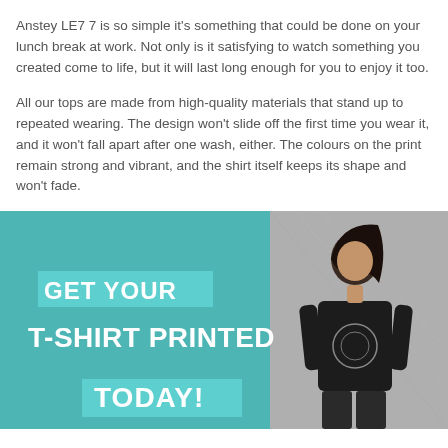Anstey LE7 7 is so simple it's something that could be done on your lunch break at work. Not only is it satisfying to watch something you created come to life, but it will last long enough for you to enjoy it too.
All our tops are made from high-quality materials that stand up to repeated wearing. The design won't slide off the first time you wear it, and it won't fall apart after one wash, either. The colours on the print remain strong and vibrant, and the shirt itself keeps its shape and won't fade.
[Figure (photo): Promotional banner with teal background and a woman wearing a black t-shirt with a lion graphic. Bold white text reads 'GET YOUR T-SHIRT PRINTED TODAY!']